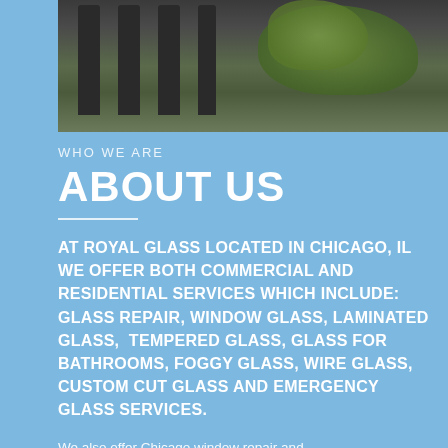[Figure (photo): Photograph of a building exterior with dark stone columns and green foliage/trees visible in the background]
WHO WE ARE
ABOUT US
AT ROYAL GLASS LOCATED IN CHICAGO, IL WE OFFER BOTH COMMERCIAL AND RESIDENTIAL SERVICES WHICH INCLUDE: GLASS REPAIR, WINDOW GLASS, LAMINATED GLASS, TEMPERED GLASS, GLASS FOR BATHROOMS, FOGGY GLASS, WIRE GLASS, CUSTOM CUT GLASS AND EMERGENCY GLASS SERVICES.
We also offer Chicago window repair and